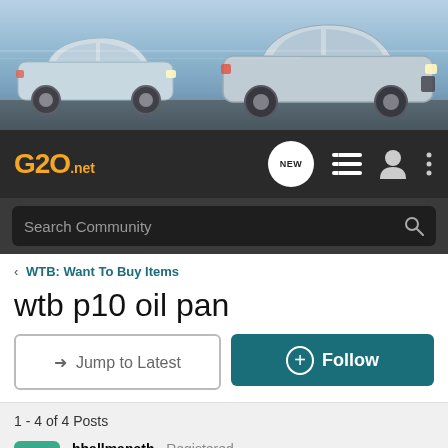[Figure (photo): Banner image showing two silver sedans (one compact on left, one larger sedan on right) against a motion-blurred background, used as the G20.net forum header.]
G20.net — navigation bar with logo, NEW bubble, list icon, user icon, and menu icon
Search Community
< WTB: Want To Buy Items
wtb p10 oil pan
→ Jump to Latest
+ Follow
1 - 4 of 4 Posts
bballmanath · Registered
Joined Jul 20, 2010 · 357 Posts